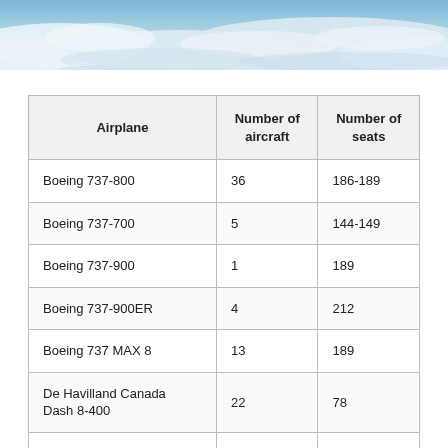[Figure (photo): Aerial photo of clouds viewed from above, blue sky and white cloud cover]
| Airplane | Number of aircraft | Number of seats |
| --- | --- | --- |
| Boeing 737-800 | 36 | 186-189 |
| Boeing 737-700 | 5 | 144-149 |
| Boeing 737-900 | 1 | 189 |
| Boeing 737-900ER | 4 | 212 |
| Boeing 737 MAX 8 | 13 | 189 |
| De Havilland Canada Dash 8-400 | 22 | 78 |
| De Havilland Canada |  |  |